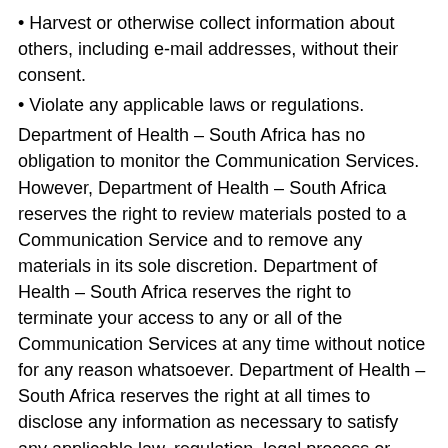• Harvest or otherwise collect information about others, including e-mail addresses, without their consent.
• Violate any applicable laws or regulations.
Department of Health – South Africa has no obligation to monitor the Communication Services. However, Department of Health – South Africa reserves the right to review materials posted to a Communication Service and to remove any materials in its sole discretion. Department of Health – South Africa reserves the right to terminate your access to any or all of the Communication Services at any time without notice for any reason whatsoever. Department of Health – South Africa reserves the right at all times to disclose any information as necessary to satisfy any applicable law, regulation, legal process or governmental request, or to edit, refuse to post or to remove any information or materials, in whole or in part, in Department of Health – South Africa's sole discretion.
Always use caution when giving out any personally identifying information about yourself or your children in any Communication